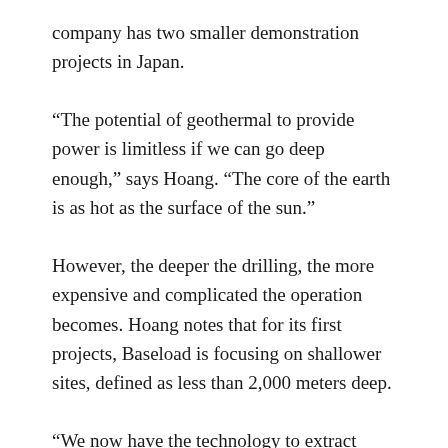company has two smaller demonstration projects in Japan.
“The potential of geothermal to provide power is limitless if we can go deep enough,” says Hoang. “The core of the earth is as hot as the surface of the sun.”
However, the deeper the drilling, the more expensive and complicated the operation becomes. Hoang notes that for its first projects, Baseload is focusing on shallower sites, defined as less than 2,000 meters deep.
“We now have the technology to extract energy from ...